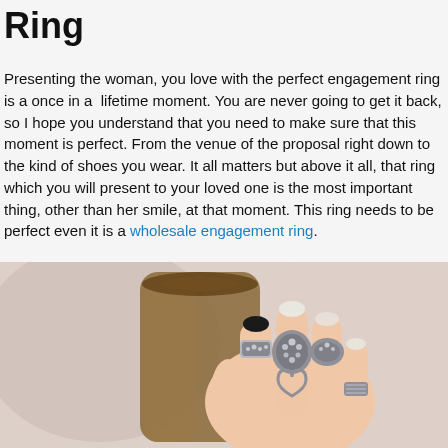Ring
Presenting the woman, you love with the perfect engagement ring is a once in a lifetime moment. You are never going to get it back, so I hope you understand that you need to make sure that this moment is perfect. From the venue of the proposal right down to the kind of shoes you wear. It all matters but above it all, that ring which you will present to your loved one is the most important thing, other than her smile, at that moment. This ring needs to be perfect even it is a wholesale engagement ring.
[Figure (photo): A woman's hand with black nail polish holding a glass, wearing multiple silver diamond-encrusted rings including decorative statement rings.]